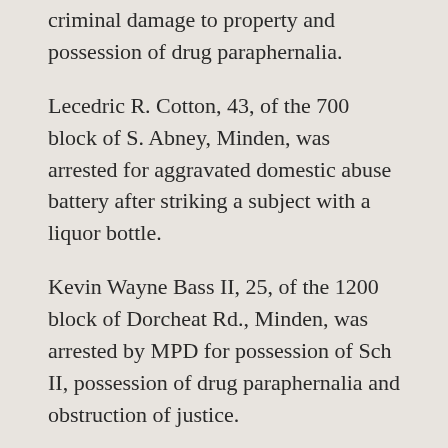criminal damage to property and possession of drug paraphernalia.
Lecedric R. Cotton, 43, of the 700 block of S. Abney, Minden, was arrested for aggravated domestic abuse battery after striking a subject with a liquor bottle.
Kevin Wayne Bass II, 25, of the 1200 block of Dorcheat Rd., Minden, was arrested by MPD for possession of Sch II, possession of drug paraphernalia and obstruction of justice.
Edward George, 60, of Homer, was arrested by WPSO as a fugitive from Claiborne Parish.
Gavin Michael Green, 20, of the 200 block of Goodwill